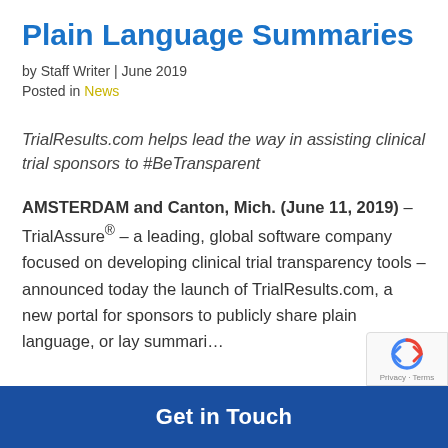Plain Language Summaries
by Staff Writer | June 2019
Posted in News
TrialResults.com helps lead the way in assisting clinical trial sponsors to #BeTransparent
AMSTERDAM and Canton, Mich. (June 11, 2019) – TrialAssure® – a leading, global software company focused on developing clinical trial transparency tools – announced today the launch of TrialResults.com, a new portal for sponsors to publicly share plain language, or lay summaries
Get in Touch